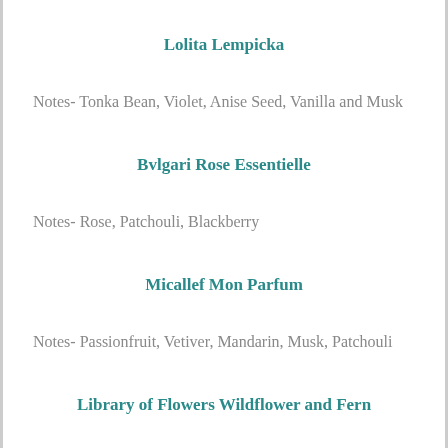Lolita Lempicka
Notes- Tonka Bean, Violet, Anise Seed, Vanilla and Musk
Bvlgari Rose Essentielle
Notes- Rose, Patchouli, Blackberry
Micallef Mon Parfum
Notes- Passionfruit, Vetiver, Mandarin, Musk, Patchouli
Library of Flowers Wildflower and Fern
Notes- Cucumber, Davana, Honeysuckle